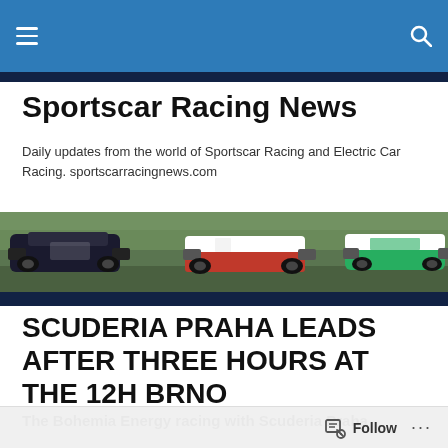Sportscar Racing News
Daily updates from the world of Sportscar Racing and Electric Car Racing. sportscarracingnews.com
[Figure (photo): Banner photo showing multiple sports prototype racing cars on track, including dark/black car on left, red and white car in centre, and green and white car on right]
SCUDERIA PRAHA LEADS AFTER THREE HOURS AT THE 12H BRNO
The Bohemia Energy racing with Scuderia Praha
Follow